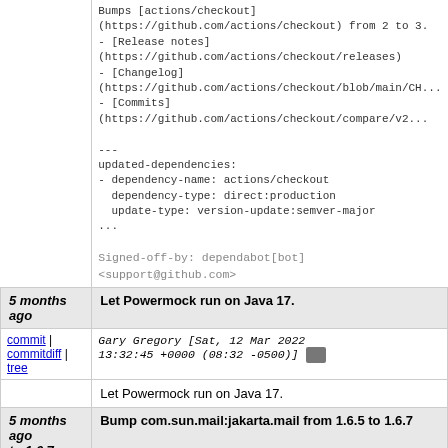Bumps [actions/checkout](https://github.com/actions/checkout) from 2 to 3.
- [Release notes](https://github.com/actions/checkout/releases)
- [Changelog](https://github.com/actions/checkout/blob/main/CH...)
- [Commits](https://github.com/actions/checkout/compare/v2...)

---
updated-dependencies:
- dependency-name: actions/checkout
  dependency-type: direct:production
  update-type: version-update:semver-major
...

Signed-off-by: dependabot[bot] <support@github.com>
| 5 months ago | Let Powermock run on Java 17. |
| --- | --- |
| commit | commitdiff | tree | Gary Gregory [Sat, 12 Mar 2022 13:32:45 +0000 (08:32 -0500)] |
|  | Let Powermock run on Java 17. |
| 5 months ago
to 1.6.7 | Bump com.sun.mail:jakarta.mail from 1.6.5 to 1.6.7 |
| --- | --- |
| commit | commitdiff | tree | Gary Gregory [Sat, 12 Mar 2022 |